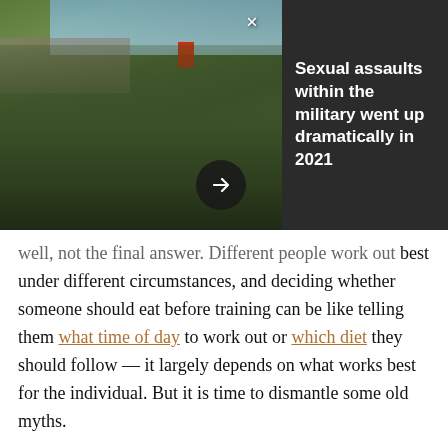[Figure (photo): Photo of military soldiers in camouflage uniforms, with a dark panel overlay on the right side showing a headline about sexual assaults in the military. A close button (×) and a circular arrow navigation button are visible. A red flag is partially visible in the background.]
Sexual assaults within the military went up dramatically in 2021
well, not the final answer. Different people work out best under different circumstances, and deciding whether someone should eat before training can be like telling them what time of day to work out or which diet they should follow — it largely depends on what works best for the individual. But it is time to dismantle some old myths.
Contrary to popular belief, research suggests that eating many small meals throughout the day won't speed up the metabolism, skipping a meal won't make